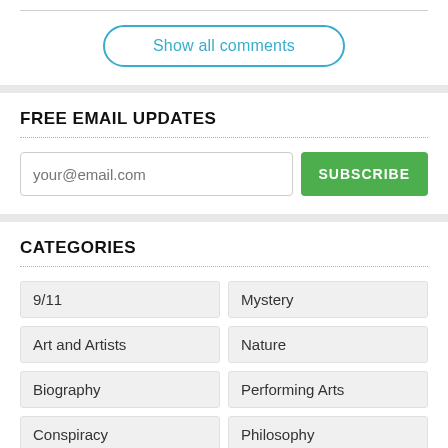Show all comments
FREE EMAIL UPDATES
your@email.com | SUBSCRIBE
CATEGORIES
9/11
Mystery
Art and Artists
Nature
Biography
Performing Arts
Conspiracy
Philosophy
Crime
Politics
Drugs
Psychology